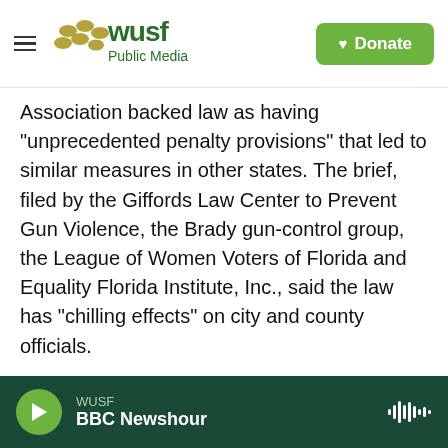WUSF Public Media | Donate
Association backed law as having “unprecedented penalty provisions” that led to similar measures in other states. The brief, filed by the Giffords Law Center to Prevent Gun Violence, the Brady gun-control group, the League of Women Voters of Florida and Equality Florida Institute, Inc., said the law has “chilling effects” on city and county officials.
RELATED: NRA Renews Fight Over Florida's Age Restriction For Purchasing Guns
“Most importantly, (the law’s) harsh penalty provisions will deter local legislators from
WUSF | BBC Newshour